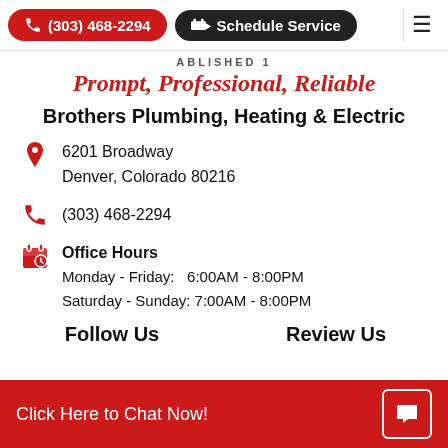(303) 468-2294 | Schedule Service
ABLISHED 1
Prompt, Professional, Reliable
Brothers Plumbing, Heating & Electric
6201 Broadway
Denver, Colorado 80216
(303) 468-2294
Office Hours
Monday - Friday: 6:00AM - 8:00PM
Saturday - Sunday: 7:00AM - 8:00PM
Follow Us
Review Us
Click Here to Chat Now!